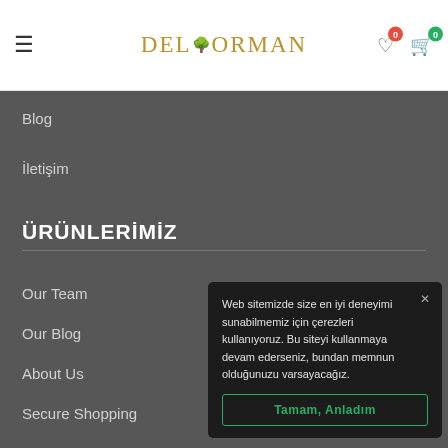DELTORMAN — navigation header with hamburger menu, logo, heart icon (0), cart icon (0)
Blog
İletişim
ÜRÜNLERİMİZ
Our Team
Our Blog
About Us
Secure Shopping
Web sitemizde size en iyi deneyimi sunabilmemiz için çerezleri kullanıyoruz. Bu siteyi kullanmaya devam ederseniz, bundan memnun olduğunuzu varsayacağız.
Tamam, Anladım